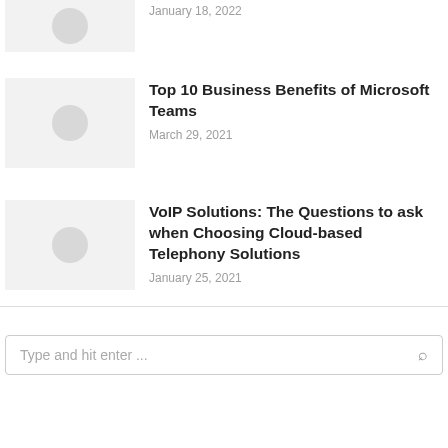[Figure (photo): Thumbnail image placeholder (top, partially visible)]
January 18, 2022
[Figure (photo): Thumbnail image placeholder for Microsoft Teams article]
Top 10 Business Benefits of Microsoft Teams
March 29, 2021
[Figure (photo): Thumbnail image placeholder for VoIP Solutions article]
VoIP Solutions: The Questions to ask when Choosing Cloud-based Telephony Solutions
January 25, 2021
Type and hit enter ...